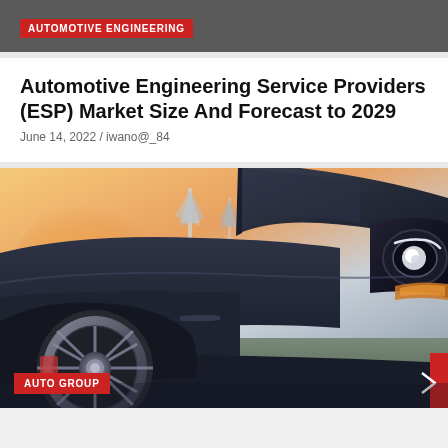AUTOMOTIVE ENGINEERING
Automotive Engineering Service Providers (ESP) Market Size And Forecast to 2029
June 14, 2022 / iwano@_84
[Figure (photo): Front view of a dark sports car with prominent headlight and alloy wheel, with wind turbines and golden sunset sky in the background]
AUTO GROUP